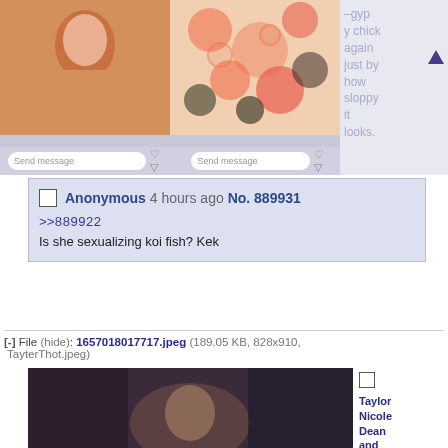[Figure (screenshot): Screenshot of social media images showing two photos side by side with 'Send message' bars and heart/share icons at the bottom]
–gyp y chick again just by how sloppy it looks.
Anonymous 4 hours ago No. 889931
>>889922
Is she sexualizing koi fish? Kek
[-] File (hide): 1657018017717.jpeg (189.05 KB, 828x910, TayterThot.jpeg)
[Figure (photo): Dark photo of a person with dark hair]
Taylor Nicole Dean and Jennifer "Mama" Dean #70 - Methy